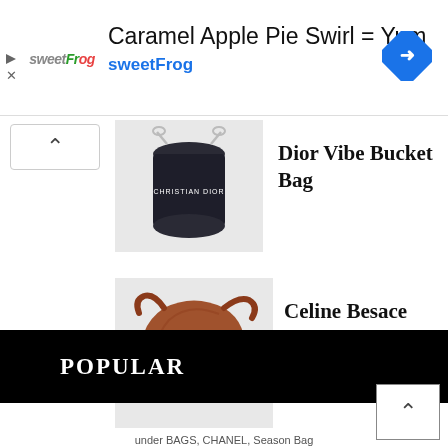[Figure (screenshot): Advertisement banner for sweetFrog featuring text 'Caramel Apple Pie Swirl = Yum' with sweetFrog logo and a blue navigation diamond icon]
Dior Vibe Bucket Bag
[Figure (photo): Dark navy/black cylindrical Dior Vibe Bucket Bag with silver chain hardware]
Celine Besace Noeuds Francais Bag
[Figure (photo): Brown/tan leather Celine Besace Noeuds Francais crescent-shaped shoulder bag with strap]
POPULAR
under BAGS, CHANEL, Season Bag